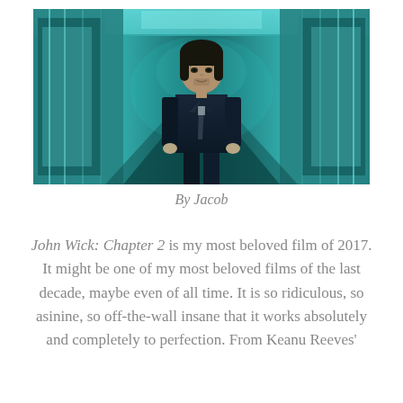[Figure (photo): A man in a dark suit and tie walking through a corridor with teal/cyan lighting and reflective metallic walls, resembling a scene from John Wick: Chapter 2]
By Jacob
John Wick: Chapter 2 is my most beloved film of 2017. It might be one of my most beloved films of the last decade, maybe even of all time. It is so ridiculous, so asinine, so off-the-wall insane that it works absolutely and completely to perfection. From Keanu Reeves'